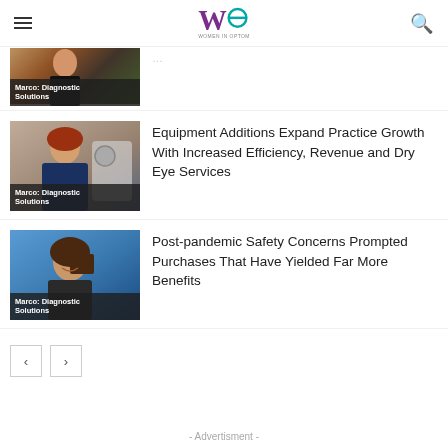Women in Optometry
[Figure (photo): Partially visible article thumbnail with woman and text overlay 'Marco: Diagnostic Solutions']
[Figure (photo): Article thumbnail showing woman with optometry equipment, overlay text 'Marco: Diagnostic Solutions']
Equipment Additions Expand Practice Growth With Increased Efficiency, Revenue and Dry Eye Services
[Figure (photo): Article thumbnail showing woman smiling, overlay text 'Marco: Diagnostic Solutions']
Post-pandemic Safety Concerns Prompted Purchases That Have Yielded Far More Benefits
- Advertisment -